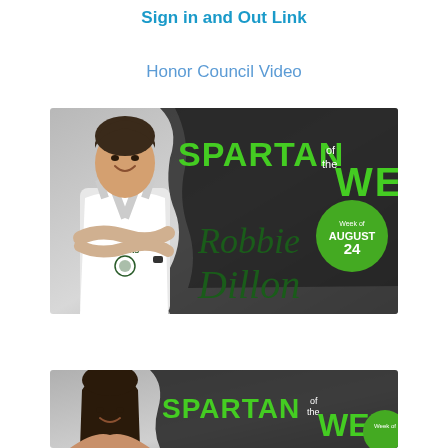Sign in and Out Link
Honor Council Video
[Figure (photo): Spartan of the Week graphic featuring Robbie Dillon, week of August 24. Shows a young male athlete in Athens jersey with arms crossed, with green brush-stroke text reading 'SPARTAN of the WEEK' and 'Robbie Dillon' in dark green script.]
[Figure (photo): Second Spartan of the Week graphic, partially visible, showing a young female student and the text 'SPARTAN of the WEEK' with a green badge.]